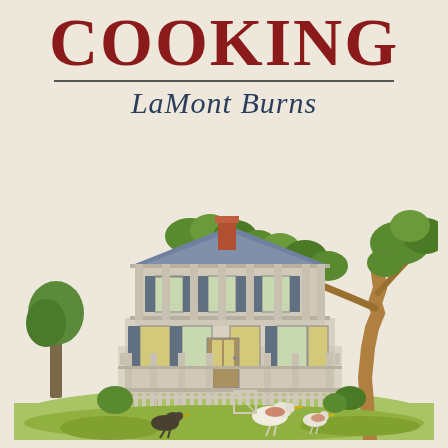COOKING
LaMont Burns
[Figure (illustration): Pen-and-watercolor illustration of a two-story antebellum Southern plantation house with double porches, shuttered windows, a chimney, surrounded by large oak trees with hanging moss, green lawn, a picket fence, and chickens/ducks in the foreground yard.]